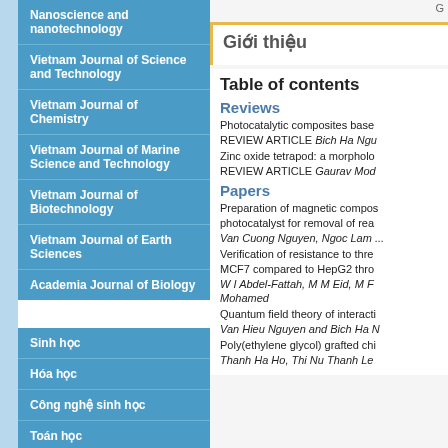Nanoscience and nanotechnology
Vietnam Journal of Science and Technology
Vietnam Journal of Chemistry
Vietnam Journal of Marine Science and Technology
Vietnam Journal of Biotechnology
Vietnam Journal of Earth Sciences
Academia Journal of Biology
Sinh học
Hóa học
Công nghệ sinh học
Toán học
Công nghệ biển
Vật lý
Giới thiệu
Table of contents
Reviews
Photocatalytic composites base... REVIEW ARTICLE Bich Ha Ngu...
Zinc oxide tetrapod: a morpholo... REVIEW ARTICLE Gaurav Mod...
Papers
Preparation of magnetic compos... photocatalyst for removal of rea... Van Cuong Nguyen, Ngoc Lam ...
Verification of resistance to thre... MCF7 compared to HepG2 thro... W I Abdel-Fattah, M M Eid, M F... Mohamed
Quantum field theory of interacti... Van Hieu Nguyen and Bich Ha N...
Poly(ethylene glycol) grafted chi... Thanh Ha Ho, Thi Nu Thanh Le...